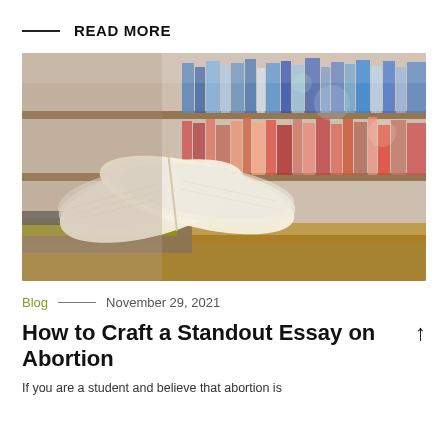READ MORE
[Figure (photo): Open book with fanned pages resting on a stack of books in a library with bookshelves in the background, blurred]
Blog — November 29, 2021
How to Craft a Standout Essay on Abortion
If you are a student and believe that abortion is